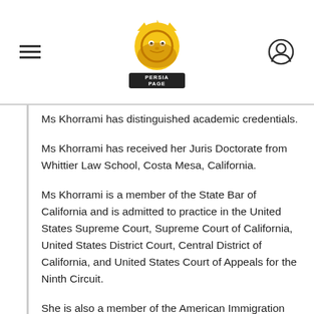Persia Page
Ms Khorrami has distinguished academic credentials.
Ms Khorrami has received her Juris Doctorate from Whittier Law School, Costa Mesa, California.
Ms Khorrami is a member of the State Bar of California and is admitted to practice in the United States Supreme Court, Supreme Court of California, United States District Court, Central District of California, and United States Court of Appeals for the Ninth Circuit.
She is also a member of the American Immigration Lawyers Association and the Los Angeles County Bar Association. She is a recipient of CALI certificates and Certificate in International and Comparative Law.
Ms Tara Khorrami has also worked very closely with the Los